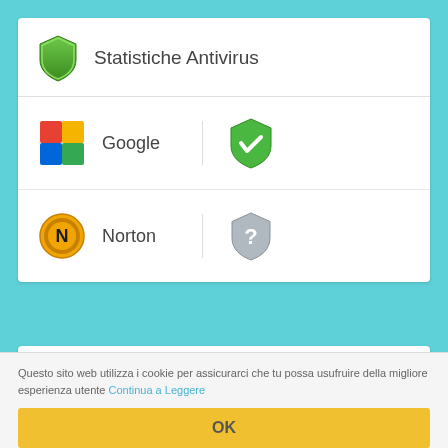Statistiche Antivirus
|  | Provider | Status |
| --- | --- | --- |
| Google logo | Google | Green shield check |
| Norton logo | Norton | Grey shield question |
Statistiche Social
Questo sito web utilizza i cookie per assicurarci che tu possa usufruire della migliore esperienza utente Continua a Leggere
OK